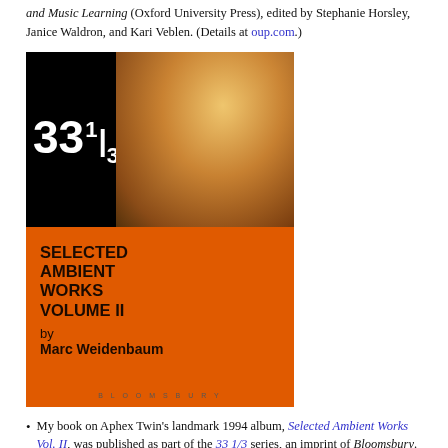and Music Learning (Oxford University Press), edited by Stephanie Horsley, Janice Waldron, and Kari Veblen. (Details at oup.com.)
[Figure (photo): Book cover of 'Selected Ambient Works Volume II by Marc Weidenbaum', part of the 33 1/3 series, published by Bloomsbury. The cover has a black background with the 33 1/3 logo in white on the upper left, an abstract orange/brown photo on the upper right, and an orange lower half with bold dark text showing the title and author name.]
My book on Aphex Twin's landmark 1994 album, Selected Ambient Works Vol. II, was published as part of the 33 1/3 series, an imprint of Bloomsbury. It is also an updated and